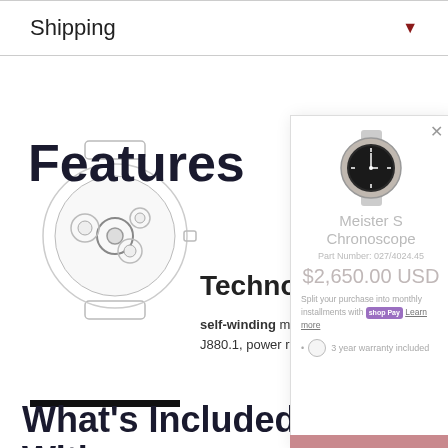Shipping
Features
[Figure (illustration): Line drawing illustration of a watch movement/mechanism in circular form]
Technology
self-winding movement calibre J880.1, power reserve of 48 hours
[Figure (photo): Photo of Meister S Chronoscope watch on popup overlay]
Meister S Chronoscope
Part Number: 027/4024.45
$2,650.00 USD
Split your purchase into monthly installments with shop Pay Learn more
3 year warranty included
ADD TO CART
What's Included With